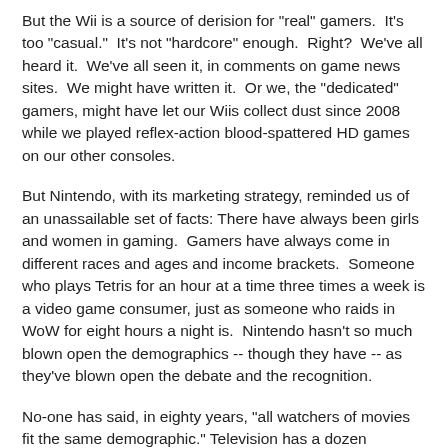But the Wii is a source of derision for "real" gamers.  It's too "casual."  It's not "hardcore" enough.  Right?  We've all heard it.  We've all seen it, in comments on game news sites.  We might have written it.  Or we, the "dedicated" gamers, might have let our Wiis collect dust since 2008 while we played reflex-action blood-spattered HD games on our other consoles.
But Nintendo, with its marketing strategy, reminded us of an unassailable set of facts: There have always been girls and women in gaming.  Gamers have always come in different races and ages and income brackets.  Someone who plays Tetris for an hour at a time three times a week is a video game consumer, just as someone who raids in WoW for eight hours a night is.  Nintendo hasn't so much blown open the demographics -- though they have -- as they've blown open the debate and the recognition.
No-one has said, in eighty years, "all watchers of movies fit the same demographic." Television has a dozen competing networks per demographic.  And yet we maintain this overwrought, antiquated cultural insistence that all gamers